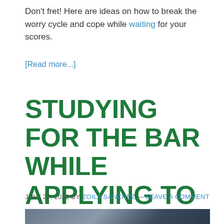Don't fret! Here are ideas on how to break the worry cycle and cope while waiting for your scores.
[Read more...]
STUDYING FOR THE BAR WHILE APPLYING TO JOBS
JULY 27, 2022 BY ZOILA SANCHEZ — LEAVE A COMMENT
[Figure (photo): Photo of a person, partially visible at the bottom of the page]